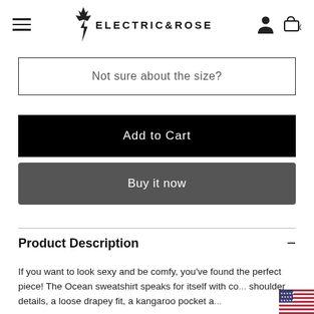Electric & Rose — hamburger menu, logo, user icon, cart (0)
Not sure about the size?
Add to Cart
Buy it now
Product Description
If you want to look sexy and be comfy, you've found the perfect piece! The Ocean sweatshirt speaks for itself with cold shoulder details, a loose drapey fit, a kangaroo pocket an...